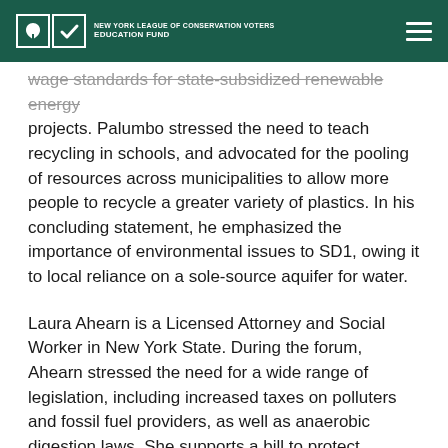NEW YORK LEAGUE OF CONSERVATION VOTERS EDUCATION FUND
wage standards for state-subsidized renewable energy projects. Palumbo stressed the need to teach recycling in schools, and advocated for the pooling of resources across municipalities to allow more people to recycle a greater variety of plastics. In his concluding statement, he emphasized the importance of environmental issues to SD1, owing it to local reliance on a sole-source aquifer for water.
Laura Ahearn is a Licensed Attorney and Social Worker in New York State. During the forum, Ahearn stressed the need for a wide range of legislation, including increased taxes on polluters and fossil fuel providers, as well as anaerobic digestion laws. She supports a bill to protect pollinators by banning neonicotinoid-coated seeds. She is also in favor of combating nitrogen pollution through government-funded land acquisition to protect vulnerable areas (such as the aquifer and estuaries), increased wastewater treatment, and a subsidy and/or tax incentive for local homeowners. Ahearn